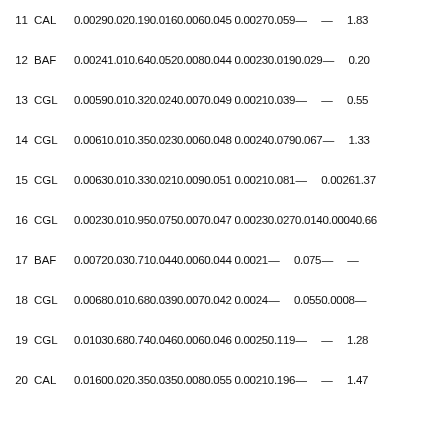| # | Type | Data |
| --- | --- | --- |
| 11 | CAL | 0.0029 0.02 0.19 0.016 0.006 0.045 0.0027 0.059 — — 1.83 |
| 12 | BAF | 0.0024 1.01 0.64 0.052 0.008 0.044 0.0023 0.019 0.029 — 0.20 |
| 13 | CGL | 0.0059 0.01 0.32 0.024 0.007 0.049 0.0021 0.039 — — 0.55 |
| 14 | CGL | 0.0061 0.01 0.35 0.023 0.006 0.048 0.0024 0.079 0.067 — 1.33 |
| 15 | CGL | 0.0063 0.01 0.33 0.021 0.009 0.051 0.0021 0.081 — 0.0026 1.37 |
| 16 | CGL | 0.0023 0.01 0.95 0.075 0.007 0.047 0.0023 0.027 0.014 0.0004 0.66 |
| 17 | BAF | 0.0072 0.03 0.71 0.044 0.006 0.044 0.0021 — 0.075 — — |
| 18 | CGL | 0.0068 0.01 0.68 0.039 0.007 0.042 0.0024 — 0.055 0.0008 — |
| 19 | CGL | 0.0103 0.68 0.74 0.046 0.006 0.046 0.0025 0.119 — — 1.28 |
| 20 | CAL | 0.0160 0.02 0.35 0.035 0.008 0.055 0.0021 0.196 — — 1.47 |